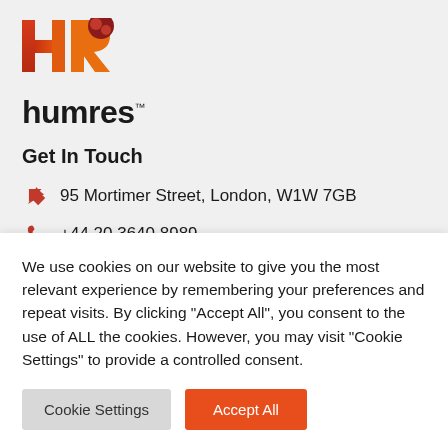[Figure (logo): Humres HR logo with red and orange H and R letters, and a dark red circular icon, plus the text 'humres' in bold black below with TM mark]
Get In Touch
95 Mortimer Street, London, W1W 7GB
+44 20 3640 8989
jobs@humres.co.uk
Useful Links
We use cookies on our website to give you the most relevant experience by remembering your preferences and repeat visits. By clicking “Accept All”, you consent to the use of ALL the cookies. However, you may visit “Cookie Settings” to provide a controlled consent.